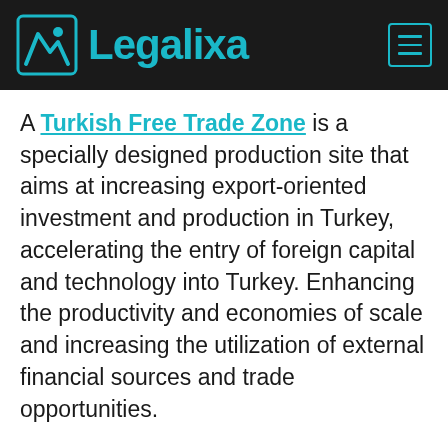Legalixa
A Turkish Free Trade Zone is a specially designed production site that aims at increasing export-oriented investment and production in Turkey, accelerating the entry of foreign capital and technology into Turkey. Enhancing the productivity and economies of scale and increasing the utilization of external financial sources and trade opportunities.
WhatsApp  ade Zone is within the boundaries of the Republic of Turkey, it is